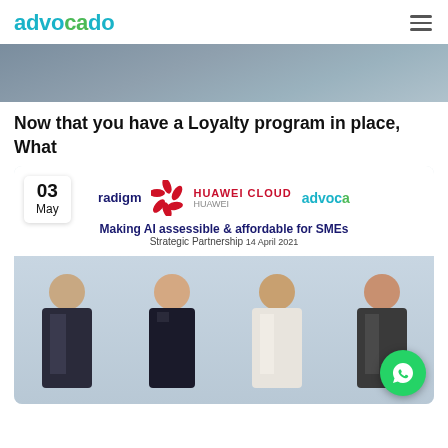advocado
[Figure (photo): Dark blurred banner/header image at top of article page]
Now that you have a Loyalty program in place, What
[Figure (photo): Photo of four people (two men and two women) standing in front of a Huawei Cloud and Advocado strategic partnership banner reading 'Making AI assessible & affordable for SMEs Strategic Partnership 14 April 2021'. A date badge '03 May' overlays the top-left corner.]